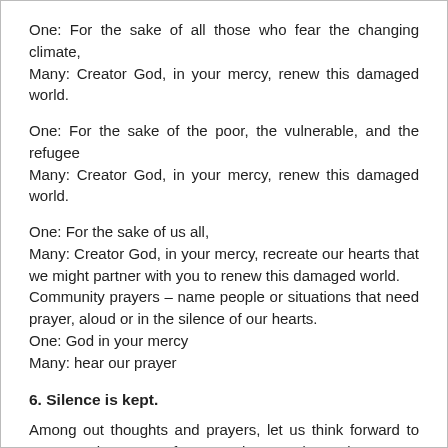One: For the sake of all those who fear the changing climate,
Many: Creator God, in your mercy, renew this damaged world.
One: For the sake of the poor, the vulnerable, and the refugee
Many: Creator God, in your mercy, renew this damaged world.
One: For the sake of us all,
Many: Creator God, in your mercy, recreate our hearts that we might partner with you to renew this damaged world.
Community prayers – name people or situations that need prayer, aloud or in the silence of our hearts.
One: God in your mercy
Many: hear our prayer
6. Silence is kept.
Among out thoughts and prayers, let us think forward to Transgender Day of Remembrance (TDOR), as our services will